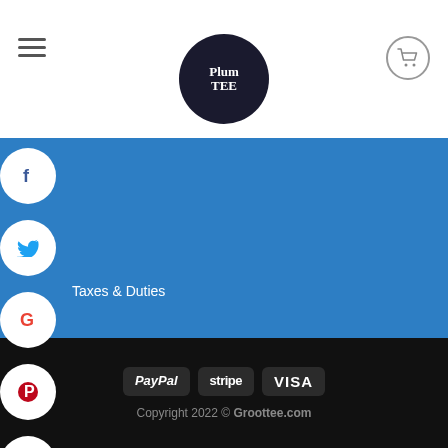[Figure (logo): Plum Tee logo — circular dark badge with stylized text]
Taxes & Duties
SIGNUP FOR NEWSLETTER
Your Email (required)
SIGN UP
[Figure (other): Payment method badges: PayPal, stripe, VISA]
Copyright 2022 © Groottee.com